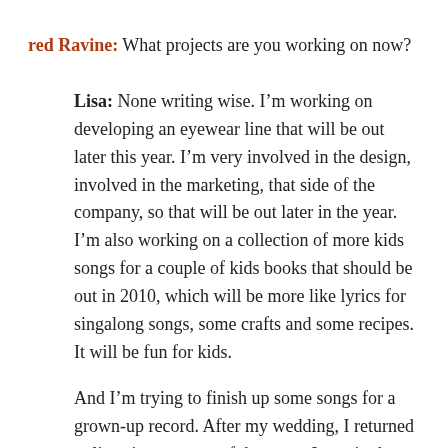red Ravine: What projects are you working on now?
Lisa: None writing wise. I'm working on developing an eyewear line that will be out later this year. I'm very involved in the design, involved in the marketing, that side of the company, so that will be out later in the year. I'm also working on a collection of more kids songs for a couple of kids books that should be out in 2010, which will be more like lyrics for singalong songs, some crafts and some recipes. It will be fun for kids.
And I'm trying to finish up some songs for a grown-up record. After my wedding, I returned to listening to some of the songs I was in the process of finishing